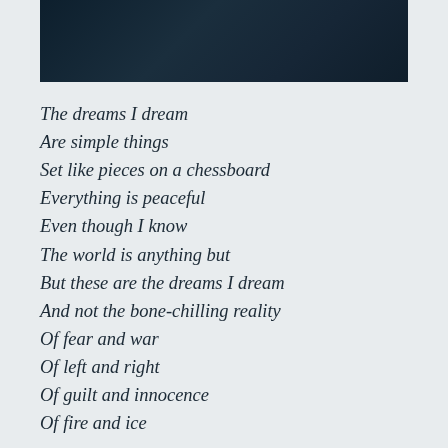[Figure (photo): Dark background image at the top of the page, dark navy/teal tones]
The dreams I dream
Are simple things
Set like pieces on a chessboard
Everything is peaceful
Even though I know
The world is anything but
But these are the dreams I dream
And not the bone-chilling reality
Of fear and war
Of left and right
Of guilt and innocence
Of fire and ice

In the dreams I dream
The sky is always clear